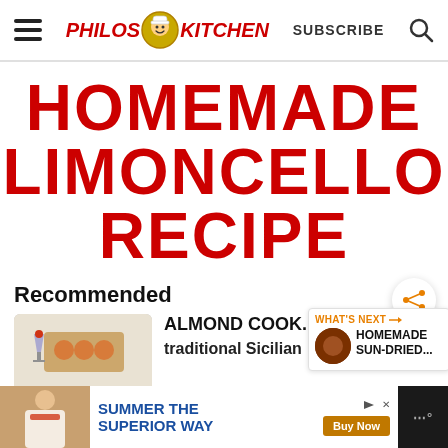PHILOS KITCHEN — SUBSCRIBE
HOMEMADE LIMONCELLO RECIPE
Recommended
[Figure (screenshot): Thumbnail image for Almond Cook... traditional Sicilian recipe article]
ALMOND COOK... traditional Sicilian
[Figure (screenshot): What's Next panel: HOMEMADE SUN-DRIED...]
[Figure (screenshot): Advertisement banner: SUMMER THE SUPERIOR WAY — Buy Now]